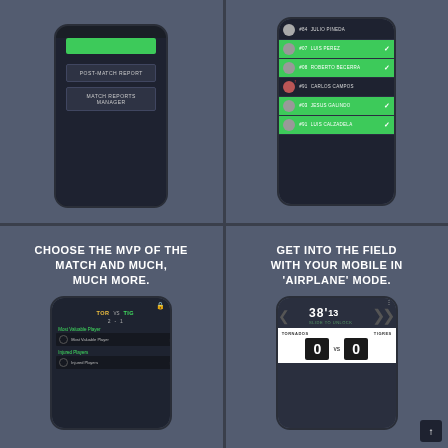[Figure (screenshot): Mobile app screenshot showing POST-MATCH REPORT and MATCH REPORTS MANAGER buttons on dark background]
[Figure (screenshot): Mobile app screenshot showing player roster list with names: #84 JULIO PINEDA, #07 LUIS PEREZ (green, checkmark), #08 ROBERTO BECERRA (green, checkmark), #91 CARLOS CAMPOS, #03 JESUS GALINDO (green, checkmark), #91 LUIS CALZADELA (green, checkmark)]
[Figure (screenshot): Mobile app screenshot with text CHOOSE THE MVP OF THE MATCH AND MUCH, MUCH MORE. and phone showing TOR VS TIG score 2-1 with Most Valuable Player and Injured Players sections]
[Figure (screenshot): Mobile app screenshot with text GET INTO THE FIELD WITH YOUR MOBILE IN 'AIRPLANE' MODE. and phone showing match score TORNADOS 0 VS TIGRES 0 with timer 38'13]